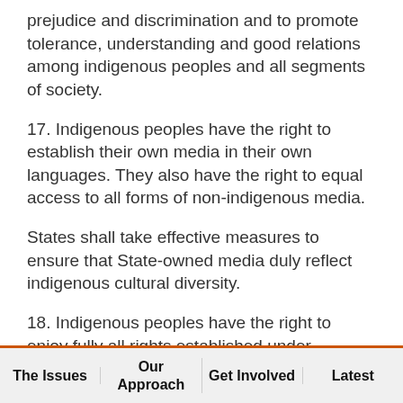prejudice and discrimination and to promote tolerance, understanding and good relations among indigenous peoples and all segments of society.
17. Indigenous peoples have the right to establish their own media in their own languages. They also have the right to equal access to all forms of non-indigenous media.
States shall take effective measures to ensure that State-owned media duly reflect indigenous cultural diversity.
18. Indigenous peoples have the right to enjoy fully all rights established under international labour law and
The Issues | Our Approach | Get Involved | Latest